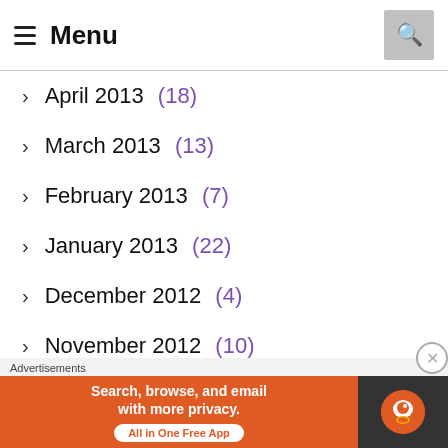Menu
April 2013 (18)
March 2013 (13)
February 2013 (7)
January 2013 (22)
December 2012 (4)
November 2012 (10)
October 2012 (8)
Advertisements
[Figure (screenshot): DuckDuckGo advertisement banner: 'Search, browse, and email with more privacy. All in One Free App' on orange background with DuckDuckGo logo on dark background.]